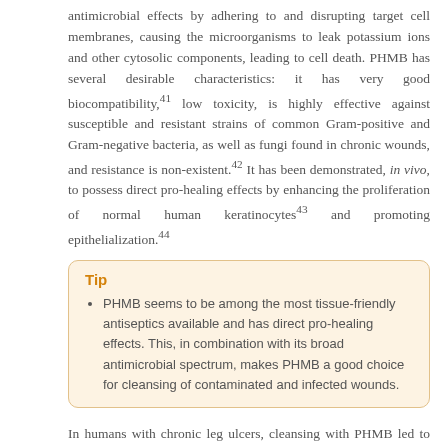antimicrobial effects by adhering to and disrupting target cell membranes, causing the microorganisms to leak potassium ions and other cytosolic components, leading to cell death. PHMB has several desirable characteristics: it has very good biocompatibility,41 low toxicity, is highly effective against susceptible and resistant strains of common Gram-positive and Gram-negative bacteria, as well as fungi found in chronic wounds, and resistance is non-existent.42 It has been demonstrated, in vivo, to possess direct pro-healing effects by enhancing the proliferation of normal human keratinocytes43 and promoting epithelialization.44
Tip
PHMB seems to be among the most tissue-friendly antiseptics available and has direct pro-healing effects. This, in combination with its broad antimicrobial spectrum, makes PHMB a good choice for cleansing of contaminated and infected wounds.
In humans with chronic leg ulcers, cleansing with PHMB led to statistically significantly faster healing (time to